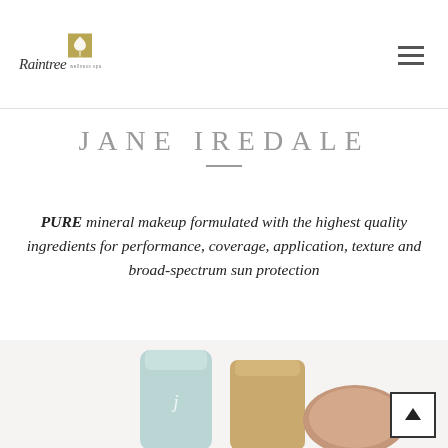[Figure (logo): Raintree Wellness Spa logo with golden tree emblem and cursive script]
JANE IREDALE
PURE mineral makeup formulated with the highest quality ingredients for performance, coverage, application, texture and broad-spectrum sun protection
[Figure (photo): Jane Iredale makeup product tubes/compacts partially visible at bottom of page]